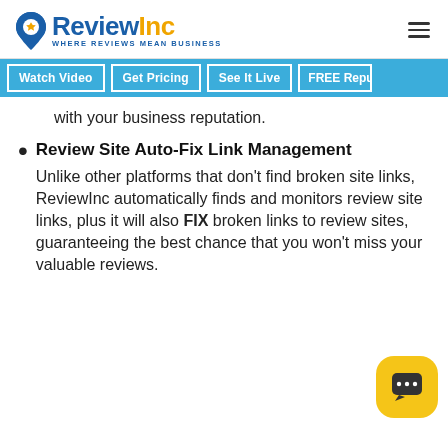ReviewInc WHERE REVIEWS MEAN BUSINESS
Watch Video | Get Pricing | See It Live | FREE Reputation
with your business reputation.
Review Site Auto-Fix Link Management

Unlike other platforms that don't find broken site links, ReviewInc automatically finds and monitors review site links, plus it will also FIX broken links to review sites, guaranteeing the best chance that you won't miss your valuable reviews.